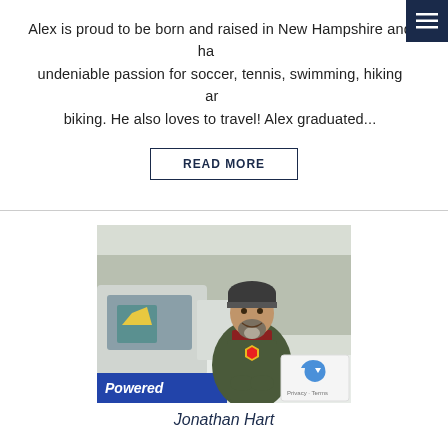Alex is proud to be born and raised in New Hampshire and ha... undeniable passion for soccer, tennis, swimming, hiking ar... biking. He also loves to travel! Alex graduated...
READ MORE
[Figure (photo): Man with beard wearing a knit hat and olive jacket with a yellow badge, standing next to a car with a 'Powered' banner in a snowy outdoor setting]
Jonathan Hart